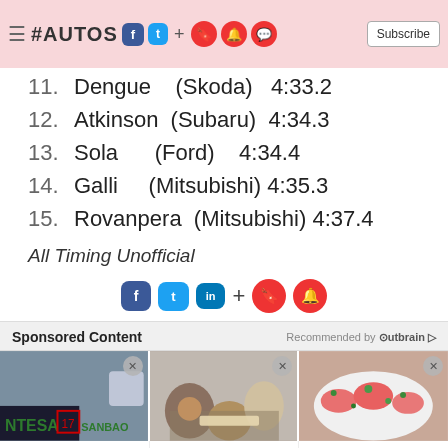#AUTOS [social icons] Subscribe
11. Dengue (Skoda) 4:33.2
12. Atkinson (Subaru) 4:34.3
13. Sola (Ford) 4:34.4
14. Galli (Mitsubishi) 4:35.3
15. Rovanpera (Mitsubishi) 4:37.4
All Timing Unofficial
[Figure (other): Social sharing buttons: Facebook, Twitter, LinkedIn, plus, bookmark, bell]
Sponsored Content   Recommended by Outbrain
[Figure (photo): Three sponsored content images: Intesa Sanpaolo bank sign, people at workplace, watermelon feta salad]
Intesa Sanpaolo, Italy's largest bank, half-year...
Report: 67% of Job Seekers Believe Workplace...
Watermelon & Feta Salad Recipe: The Perfect...